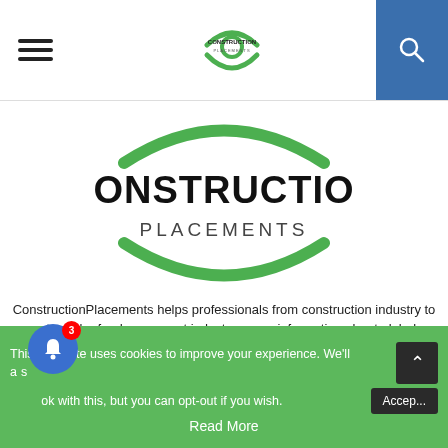Construction Placements header with hamburger menu, small logo, and search icon
[Figure (logo): Construction Placements logo with green arc shapes above and below bold text CONSTRUCTION PLACEMENTS]
ConstructionPlacements helps professionals from construction industry to get regular feeds on recent industry news, information about global megaprojects, job opportunities, industry insights as well as events & conferences from Construction, Real Estate, Infrastructure, Projects and Oil & Gas industry. Note: Some of the links on this site are affiliate links and if you go through them to make a purchase we will earn a commission.
Contact us: construplacements@gmail.com
This website uses cookies to improve your experience. We'll assume you're ok with this, but you can opt-out if you wish. Accept Read More